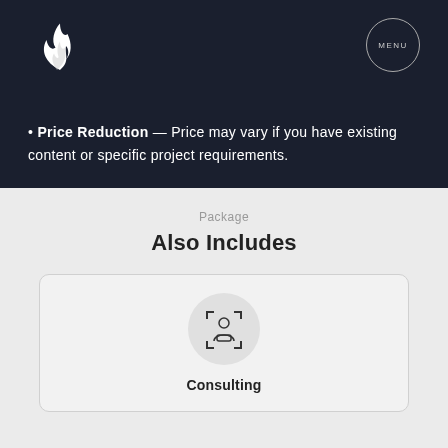[Figure (logo): White flame logo icon on dark background]
[Figure (other): MENU circular button with thin border]
Price Reduction — Price may vary if you have existing content or specific project requirements.
Package
Also Includes
[Figure (illustration): Person/consulting icon with face detection brackets inside a light gray circle]
Consulting